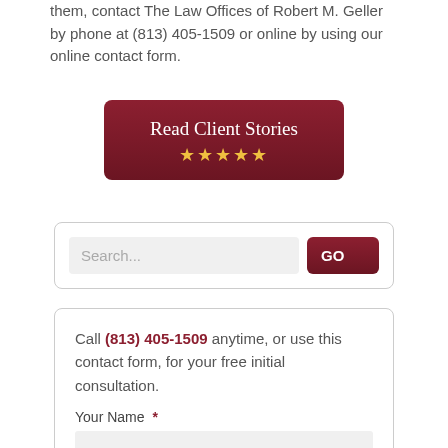them, contact The Law Offices of Robert M. Geller by phone at (813) 405-1509 or online by using our online contact form.
[Figure (other): Dark red rounded button labeled 'Read Client Stories' with five gold stars below the text]
[Figure (other): Search bar with placeholder text 'Search...' and a dark red 'GO' button]
Call (813) 405-1509 anytime, or use this contact form, for your free initial consultation.
Your Name  *
First